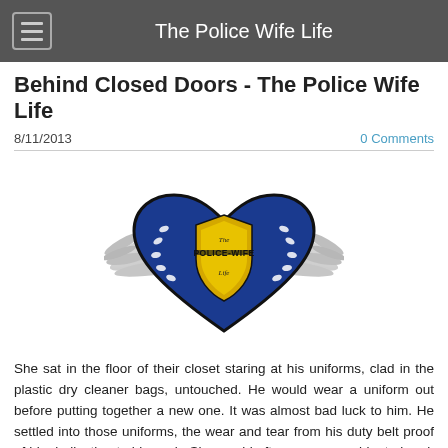The Police Wife Life
Behind Closed Doors - The Police Wife Life
8/11/2013
0 Comments
[Figure (logo): The Police Wife Life logo: a blue heart with silver wings and a gold police badge in the center, with the text 'The Police Wife Life' inscribed on it.]
She sat in the floor of their closet staring at his uniforms, clad in the plastic dry cleaner bags, untouched.  He would wear a uniform out before putting together a new one.  It was almost bad luck to him. He settled into those uniforms, the wear and tear from his duty belt proof of his dedication to his work.  She would often encourage him to break in a new one and yet he resisted. As much as he desired to be sharp and crisp and perfectly pulled together, a new uniform was like